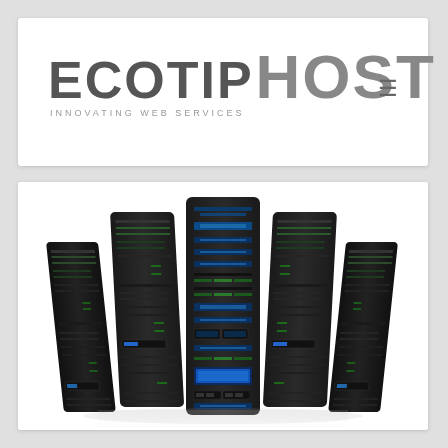[Figure (logo): EcotipHost logo with text ECOTIP in dark gray and HOST in lighter gray, tagline INNOVATING WEB SERVICES, and a hamburger menu icon]
[Figure (photo): Array of black server rack towers arranged in a curved/fan formation, with blue LED lights and green indicator lights, on a white background with reflection]